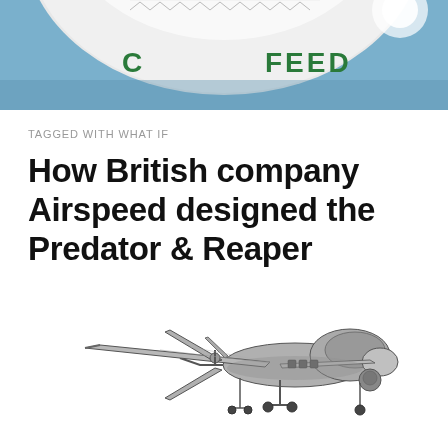[Figure (photo): Partial view of a large aircraft fuselage with 'FEED' text visible in green, photographed against a blue sky background.]
TAGGED WITH WHAT IF
How British company Airspeed designed the Predator & Reaper
[Figure (illustration): Black and white technical illustration of a Predator/Reaper drone UAV showing side view with wings, landing gear, and sensor turret.]